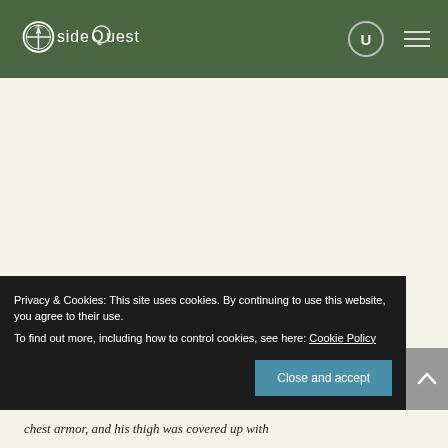[Figure (logo): SideQuest website logo - white text and compass icon on dark green header bar]
Privacy & Cookies: This site uses cookies. By continuing to use this website, you agree to their use.
To find out more, including how to control cookies, see here: Cookie Policy
Close and accept
chest armor, and his thigh was covered up with